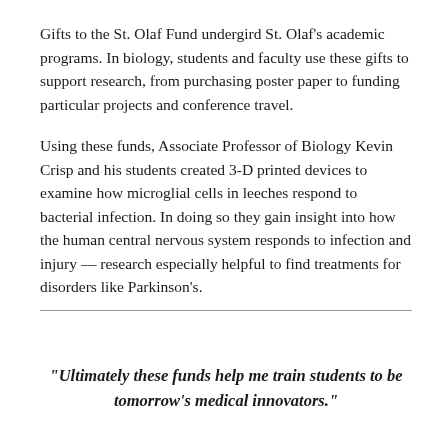Gifts to the St. Olaf Fund undergird St. Olaf's academic programs. In biology, students and faculty use these gifts to support research, from purchasing poster paper to funding particular projects and conference travel.
Using these funds, Associate Professor of Biology Kevin Crisp and his students created 3-D printed devices to examine how microglial cells in leeches respond to bacterial infection. In doing so they gain insight into how the human central nervous system responds to infection and injury — research especially helpful to find treatments for disorders like Parkinson's.
“Ultimately these funds help me train students to be tomorrow’s medical innovators.”